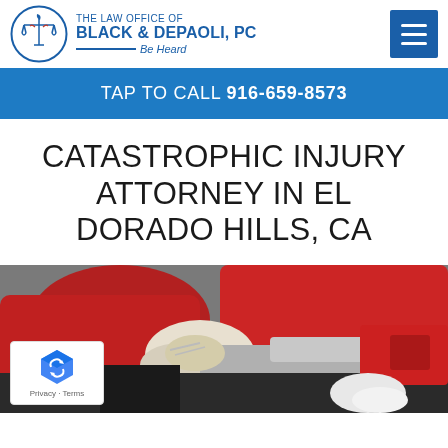THE LAW OFFICE OF BLACK & DEPAOLI, PC — Be Heard
TAP TO CALL 916-659-8573
CATASTROPHIC INJURY ATTORNEY IN EL DORADO HILLS, CA
[Figure (photo): Emergency medical responders in red uniforms treating an injured person, with gloved hands visible attending to the patient.]